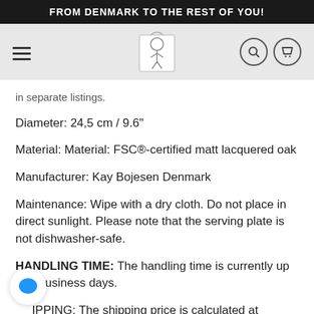FROM DENMARK TO THE REST OF YOU!
[Figure (logo): Logo of a decorative gift/toy figure in a square frame, center of navigation bar]
in separate listings.
Diameter:  24,5 cm /  9.6"
Material: Material: FSC®-certified matt lacquered oak
Manufacturer: Kay Bojesen Denmark
Maintenance: Wipe with a dry cloth. Do not place in direct sunlight. Please note that the serving plate is not dishwasher-safe.
HANDLING TIME: The handling time is currently up to 3 business days.
IPPING: The shipping price is calculated at checkout. The service includes tracking and insurance.